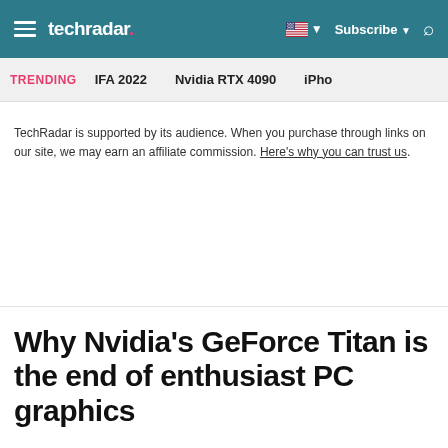techradar | Subscribe | Search
TRENDING  IFA 2022  Nvidia RTX 4090  iPhone
TechRadar is supported by its audience. When you purchase through links on our site, we may earn an affiliate commission. Here's why you can trust us.
Why Nvidia's GeForce Titan is the end of enthusiast PC graphics